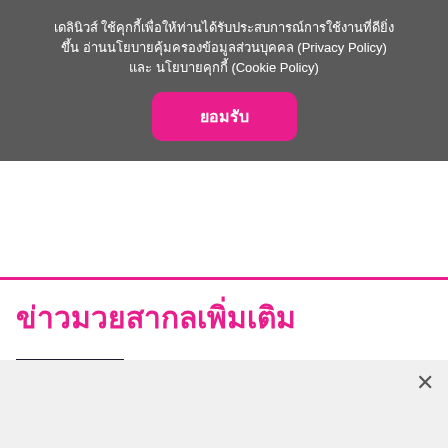เดลินิวส์ ใช้คุกกี้เพื่อให้ท่านได้รับประสบการณ์การใช้งานที่ดียิ่งขึ้น อ่านนโยบายคุ้มครองข้อมูลส่วนบุคคล (Privacy Policy) และ นโยบายคุกกี้ (Cookie Policy)
ยอมรับ
ข่าวมวยสากลเพิ่มเติม
[Figure (photo): Two boxers fighting in a boxing ring, one in red shorts and one in yellow shorts]
แหลมขอแรงใจสัญญาจะไปคว้าแชมป์โลก